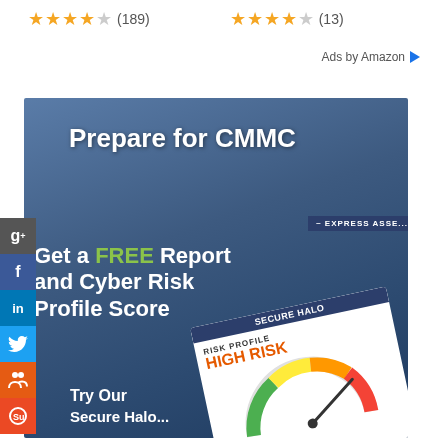[Figure (other): Star ratings row: 4.5 stars (189) and 4.5 stars (13)]
Ads by Amazon ▷
[Figure (infographic): CMMC cybersecurity advertisement banner with text 'Prepare for CMMC', 'Get a FREE Report and Cyber Risk Profile Score', risk profile gauge showing HIGH RISK, and social media sharing sidebar buttons (Google+, Facebook, LinkedIn, Twitter, people, StumbleUpon)]